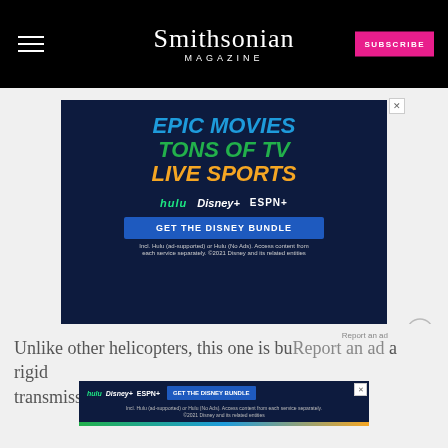Smithsonian MAGAZINE
[Figure (screenshot): Disney Bundle advertisement showing 'EPIC MOVIES TONS OF TV LIVE SPORTS' with Hulu, Disney+, and ESPN+ logos and 'GET THE DISNEY BUNDLE' button on dark blue background]
Report an ad
Unlike other helicopters, this one is built with a rigid transmission, both of which are bolted onto the
[Figure (screenshot): Smaller overlay Disney Bundle advertisement with logos and Get The Disney Bundle button]